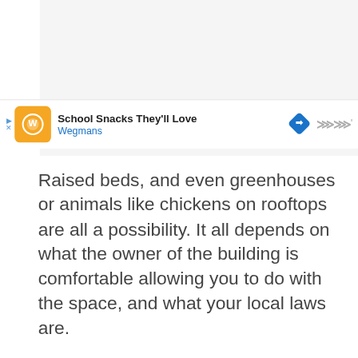[Figure (screenshot): Top portion showing a light gray advertisement or content placeholder area with a WW (WeightWatchers) logo mark in gray at the top right]
Raised beds, and even greenhouses or animals like chickens on rooftops are all a possibility. It all depends on what the owner of the building is comfortable allowing you to do with the space, and what your local laws are.
[Figure (screenshot): Bottom advertisement bar: Wegmans ad showing 'School Snacks They'll Love' with Wegmans brand name, orange logo icon, blue navigation arrow icon, and WW logo mark on the right]